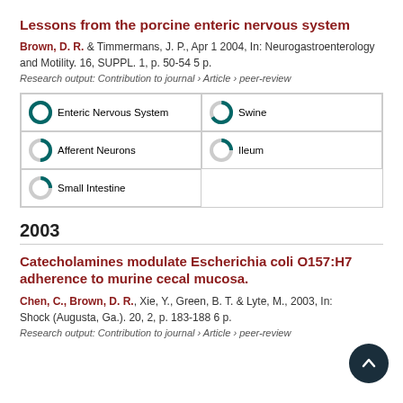Lessons from the porcine enteric nervous system
Brown, D. R. & Timmermans, J. P., Apr 1 2004, In: Neurogastroenterology and Motility. 16, SUPPL. 1, p. 50-54 5 p.
Research output: Contribution to journal › Article › peer-review
[Figure (infographic): Five keyword boxes in a 2-column grid: Enteric Nervous System (100%), Swine (67%), Afferent Neurons (50%), Ileum (25%), Small Intestine (25%)]
2003
Catecholamines modulate Escherichia coli O157:H7 adherence to murine cecal mucosa.
Chen, C., Brown, D. R., Xie, Y., Green, B. T. & Lyte, M., 2003, In: Shock (Augusta, Ga.). 20, 2, p. 183-188 6 p.
Research output: Contribution to journal › Article › peer-review